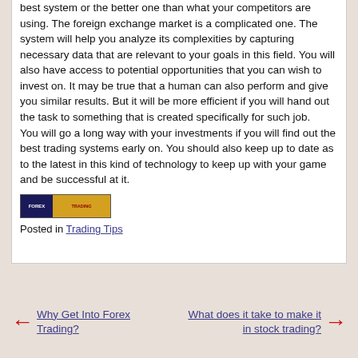best system or the better one than what your competitors are using. The foreign exchange market is a complicated one. The system will help you analyze its complexities by capturing necessary data that are relevant to your goals in this field. You will also have access to potential opportunities that you can wish to invest on. It may be true that a human can also perform and give you similar results. But it will be more efficient if you will hand out the task to something that is created specifically for such job.
You will go a long way with your investments if you will find out the best trading systems early on. You should also keep up to date as to the latest in this kind of technology to keep up with your game and be successful at it.
[Figure (other): Small banner image with dark blue left portion and golden/yellow right portion, appears to be a promotional trading banner]
Posted in Trading Tips
← Why Get Into Forex Trading?
What does it take to make it in stock trading? →